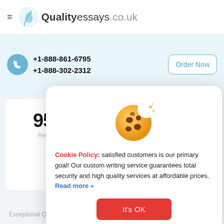Qualityessays.co.uk
+1-888-861-6795
+1-888-302-2312
Order Now
95%
Returne...
[Figure (illustration): Cookie emoji illustration — a round golden cookie with chocolate chip spots and a bite taken out of the top right, with small sparkle dots nearby]
Cookie Policy: satisfied customers is our primary goal! Our custom writing service guarantees total security and high quality services at affordable prices. Read more »
It's OK
Exceptional Quality